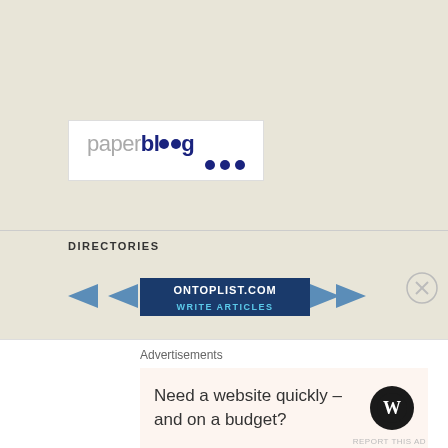[Figure (logo): Paperblog logo — white box with 'paper' in grey and 'blog' in dark navy bold, with three dark navy dots below the 'blog' text]
DIRECTORIES
[Figure (logo): OnTopList.com banner with ribbon design — dark blue rectangle center with 'ONTOPLIST.COM' and 'WRITE ARTICLES' text, flanked by blue ribbon arrows]
Add blog to our directory.
Advertisements
Need a website quickly – and on a budget?
[Figure (logo): WordPress logo — white W on black circle]